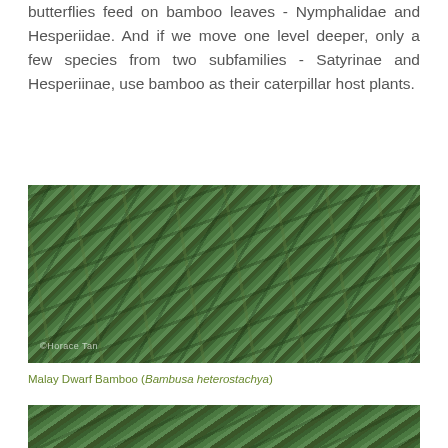butterflies feed on bamboo leaves - Nymphalidae and Hesperiidae. And if we move one level deeper, only a few species from two subfamilies - Satyrinae and Hesperiinae, use bamboo as their caterpillar host plants.
[Figure (photo): Close-up photograph of bamboo leaves (Malay Dwarf Bamboo / Bambusa heterostachya) showing long narrow green leaves clustered on stems, with a watermark reading ©Horace Tan in the bottom left corner.]
Malay Dwarf Bamboo (Bambusa heterostachya)
[Figure (photo): Partial photograph of bamboo foliage, cropped at the bottom of the page.]